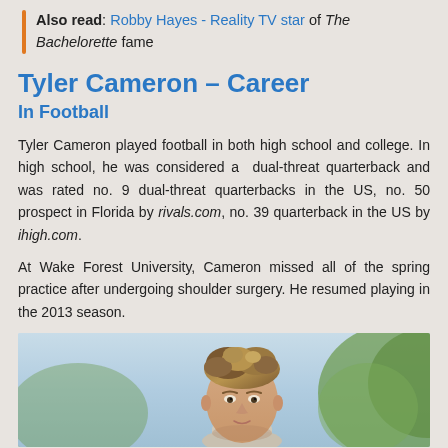Also read: Robby Hayes - Reality TV star of The Bachelorette fame
Tyler Cameron – Career
In Football
Tyler Cameron played football in both high school and college. In high school, he was considered a dual-threat quarterback and was rated no. 9 dual-threat quarterbacks in the US, no. 50 prospect in Florida by rivals.com, no. 39 quarterback in the US by ihigh.com.
At Wake Forest University, Cameron missed all of the spring practice after undergoing shoulder surgery. He resumed playing in the 2013 season.
[Figure (photo): Photo of Tyler Cameron, a young man with tousled brown hair, photographed outdoors with a light blue sky and green foliage in background.]